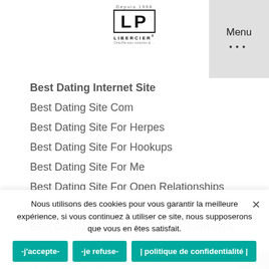[Figure (logo): LP Libercier logo with 'Depuis 1998' text and bracketed LP monogram]
Menu
Best Dating Internet Site
Best Dating Site Com
Best Dating Site For Herpes
Best Dating Site For Hookups
Best Dating Site For Me
Best Dating Site For Open Relationships
Best Dating Site For Plus Size
Best Dating Site For Serious Relationships
Best Dating Site For Teens
Nous utilisons des cookies pour vous garantir la meilleure expérience, si vous continuez à utiliser ce site, nous supposerons que vous en êtes satisfait.
-j'accepte-   -je refuse-   | politique de confidentialité |